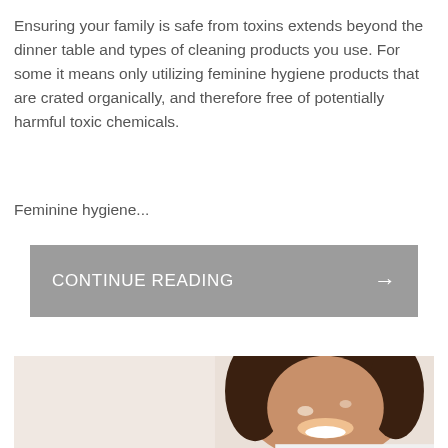Ensuring your family is safe from toxins extends beyond the dinner table and types of cleaning products you use. For some it means only utilizing feminine hygiene products that are crated organically, and therefore free of potentially harmful toxic chemicals.
Feminine hygiene...
CONTINUE READING →
[Figure (photo): Photo of a smiling young Black woman with natural curly hair, photographed from the shoulders up against a light background]